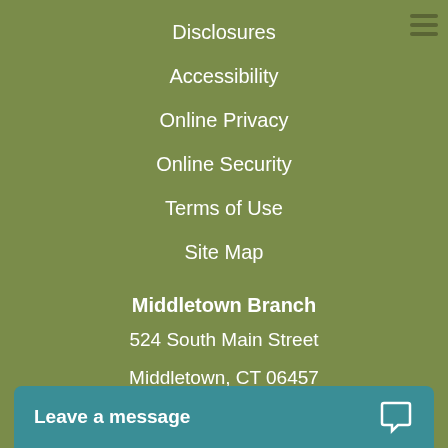Disclosures
Accessibility
Online Privacy
Online Security
Terms of Use
Site Map
Middletown Branch
524 South Main Street
Middletown, CT 06457
Meriden Branch
1371 East Main Street
Meriden, CT
Leave a message